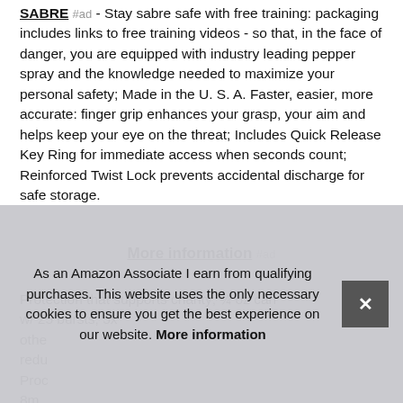SABRE #ad - Stay sabre safe with free training: packaging includes links to free training videos - so that, in the face of danger, you are equipped with industry leading pepper spray and the knowledge needed to maximize your personal safety; Made in the U. S. A. Faster, easier, more accurate: finger grip enhances your grasp, your aim and helps keep your eye on the threat; Includes Quick Release Key Ring for immediate access when seconds count; Reinforced Twist Lock prevents accidental discharge for safe storage.
More information #ad
Protection that supports charity; ¼ oz can w/ 25 bursts, 5x othe... redu... Proc... 8m...
As an Amazon Associate I earn from qualifying purchases. This website uses the only necessary cookies to ensure you get the best experience on our website. More information